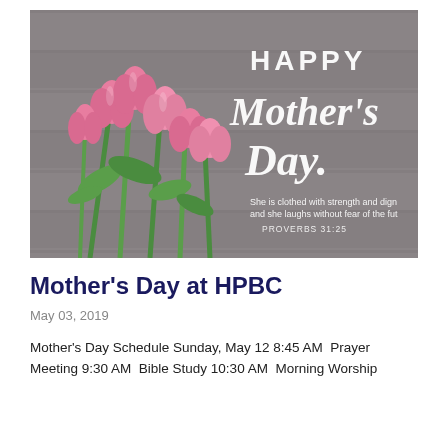[Figure (photo): Happy Mother's Day image with pink tulips on a grey wooden background. Text reads: HAPPY Mother's Day. She is clothed with strength and dignity and she laughs without fear of the future. PROVERBS 31:25]
Mother's Day at HPBC
May 03, 2019
Mother's Day Schedule Sunday, May 12 8:45 AM  Prayer Meeting 9:30 AM  Bible Study 10:30 AM  Morning Worship